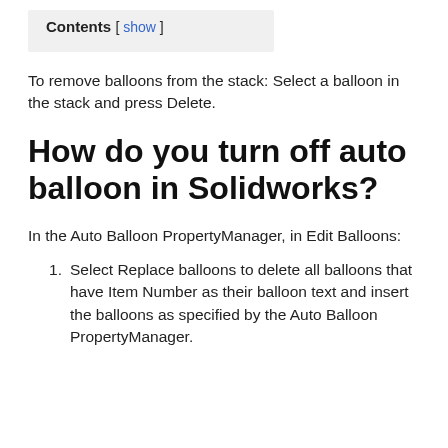Contents [ show ]
To remove balloons from the stack: Select a balloon in the stack and press Delete.
How do you turn off auto balloon in Solidworks?
In the Auto Balloon PropertyManager, in Edit Balloons:
Select Replace balloons to delete all balloons that have Item Number as their balloon text and insert the balloons as specified by the Auto Balloon PropertyManager.